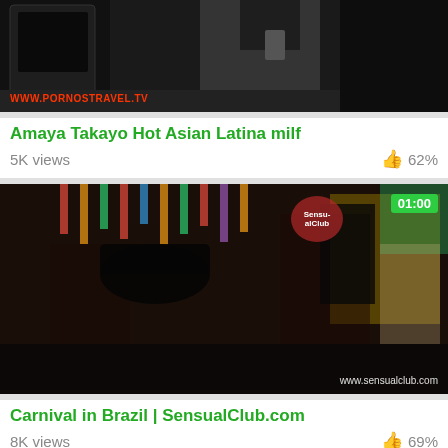[Figure (photo): Thumbnail of a woman standing outdoors near a vehicle, holding a phone. Watermark reads WWW.PORNOSTRAVEL.TV]
Amaya Takayo Hot Asian Latina milf
5K views   62%
[Figure (photo): Thumbnail of carnival scene in Brazil with costumed people. Duration badge shows 01:00. Watermark reads www.sensualclub.com]
Carnival in Brazil | SensualClub.com
8K views   69%